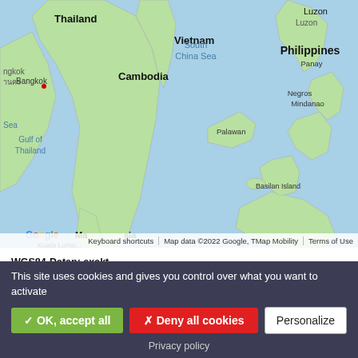[Figure (map): Google Map showing Southeast Asia region including Thailand, Vietnam, Cambodia, Gulf of Thailand, South China Sea, Philippines, Malaysia, with country/region labels. Map data ©2022 Google, TMap Mobility.]
WGS84-Daten: exakt
Geplant  Bewilligt  In Bau  In Betrieb  Abgebaut (exakt icons: black/yellow/green/blue/red diamond markers)
WGS84-Daten: ungefähr
Geplant  Bewilligt  In Bau  In Betrieb  Abgebaut (ungefähr icons: white/yellow/green/blue/red square markers)
| Name | Leistung | Anzahl an |
| --- | --- | --- |
This site uses cookies and gives you control over what you want to activate
✓ OK, accept all   ✗ Deny all cookies   Personalize
Privacy policy